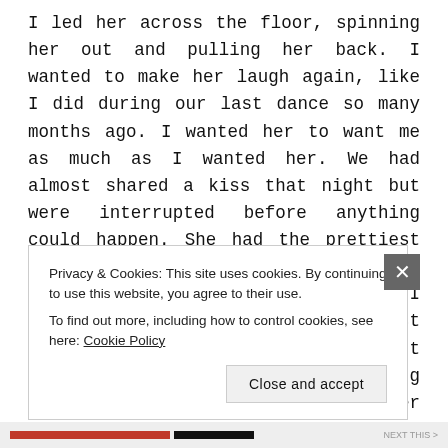I led her across the floor, spinning her out and pulling her back. I wanted to make her laugh again, like I did during our last dance so many months ago. I wanted her to want me as much as I wanted her. We had almost shared a kiss that night but were interrupted before anything could happen. She had the prettiest lips; full and soft and always pink. If I never kissed Willa before I died, it would be one of my greatest regrets. I had faith the right moment would present itself. As the song came to an end, I took both of her hands to spin her under my arms before dipping her
Privacy & Cookies: This site uses cookies. By continuing to use this website, you agree to their use.
To find out more, including how to control cookies, see here: Cookie Policy
Close and accept